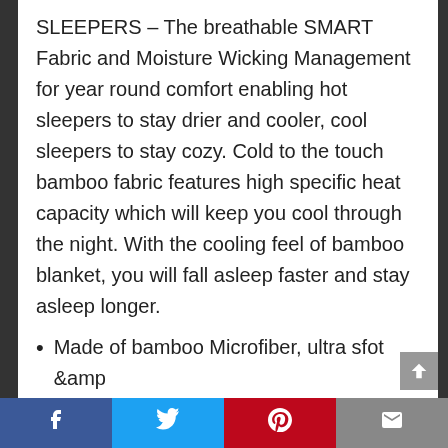SLEEPERS – The breathable SMART Fabric and Moisture Wicking Management for year round comfort enabling hot sleepers to stay drier and cooler, cool sleepers to stay cozy. Cold to the touch bamboo fabric features high specific heat capacity which will keep you cool through the night. With the cooling feel of bamboo blanket, you will fall asleep faster and stay asleep longer.
Made of bamboo Microfiber, ultra sfot &amp